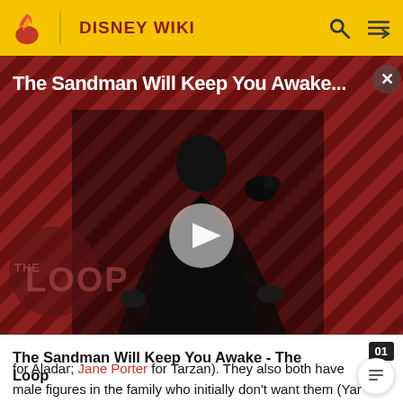DISNEY WIKI
[Figure (screenshot): Video thumbnail for 'The Sandman Will Keep You Awake...' showing a dark-cloaked figure with a raven against a diagonal red stripe background. A play button triangle is overlaid in the center. 'THE LOOP' watermark visible in the lower left. An X close button in the upper right.]
The Sandman Will Keep You Awake - The Loop
for Aladar; Jane Porter for Tarzan). They also both have male figures in the family who initially don't want them (Yar with Aladar; Kerchak with Tarzan, although Yar is less resentful and comes around